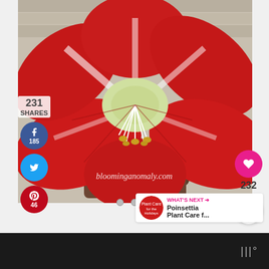[Figure (photo): Close-up photo of a red and white Amaryllis flower in a brown pot on a wooden surface. The large red petals have white stripes radiating from the center. Yellow stamens are visible. Watermark reads bloominganomaly.com]
231
SHARES
[Figure (infographic): Facebook share button showing 185 shares]
[Figure (infographic): Twitter share button]
[Figure (infographic): Pinterest share button showing 46 saves]
bloominganomaly.com
[Figure (infographic): Heart/like button showing 232]
232
[Figure (infographic): Share button icon]
WHAT'S NEXT → Poinsettia Plant Care f...